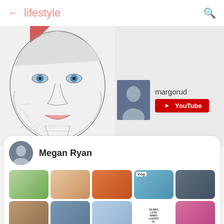← lifestyle 🔍
[Figure (screenshot): Mobile app screenshot showing a lifestyle category page with a pencil sketch illustration of a woman's face on the left, and a YouTube channel card for 'margorud' on the right, followed by a content card for 'Megan Ryan' with a grid of video thumbnails below]
margorud
[Figure (logo): YouTube red play button logo with 'YouTube' text]
Megan Ryan